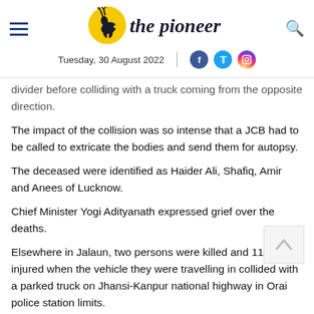the pioneer — Tuesday, 30 August 2022
divider before colliding with a truck coming from the opposite direction.
The impact of the collision was so intense that a JCB had to be called to extricate the bodies and send them for autopsy.
The deceased were identified as Haider Ali, Shafiq, Amir and Anees of Lucknow.
Chief Minister Yogi Adityanath expressed grief over the deaths.
Elsewhere in Jalaun, two persons were killed and 11 others injured when the vehicle they were travelling in collided with a parked truck on Jhansi-Kanpur national highway in Orai police station limits.
As per reports, a total of 13 people were travelling in the vehicle which collided with a truck parked at the roadside near an eatery. Two people, including the driver and a woman, were killed and 11 others were injured.